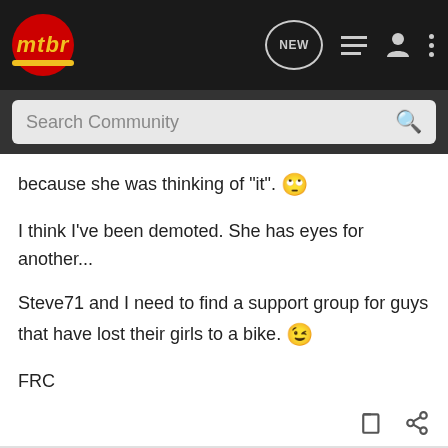[Figure (screenshot): mtbr community forum website navigation bar with logo, NEW chat icon, list icon, user icon, and more icon]
[Figure (screenshot): Search Community search bar on dark background]
because she was thinking of "it". 🙄

I think I've been demoted. She has eyes for another...

Steve71 and I need to find a support group for guys that have lost their girls to a bike. 😉

FRC
brq · Registered